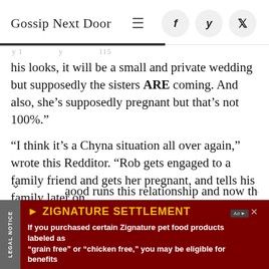Gossip Next Door
his looks, it will be a small and private wedding but supposedly the sisters ARE coming. And also, she’s supposedly pregnant but that’s not 100%.”
“I think it’s a Chyna situation all over again,” wrote this Redditor. “Rob gets engaged to a family friend and gets her pregnant, and tells his family later on. …ood runs this relationship and now there’s beef
[Figure (screenshot): Advertisement banner: ZIGNATURE SETTLEMENT legal notice ad with dark red background, yellow title text, white body text. If you purchased certain Zignature pet food products labeled as “grain free” or “chicken free,” you may be eligible for benefits]